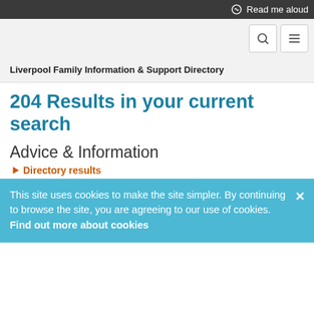Read me aloud
Liverpool Family Information & Support Directory
204 Results in your current search
Advice & Information
Directory results
This site uses cookies to make the site simpler. By continuing to browse the site, you are agreeing to our use of cookies. Find out more about cookies